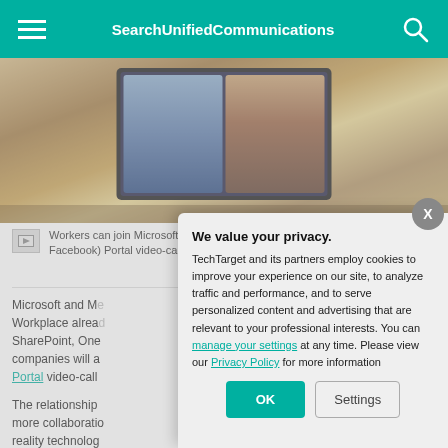SearchUnifiedCommunications
[Figure (photo): Photo of a laptop screen showing a Microsoft Teams video call with two participants visible, set on a wooden desk.]
Workers can join Microsoft Teams meetings from their Meta (formerly Facebook) Portal video-calling devices.
Microsoft and Meta's Workplace already SharePoint, One companies will also Portal video-call
The relationship more collaboration reality technology Both companies
We value your privacy. TechTarget and its partners employ cookies to improve your experience on our site, to analyze traffic and performance, and to serve personalized content and advertising that are relevant to your professional interests. You can manage your settings at any time. Please view our Privacy Policy for more information